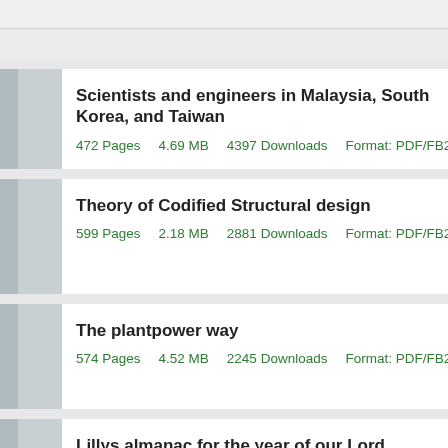Scientists and engineers in Malaysia, South Korea, and Taiwan
472 Pages    4.69 MB    4397 Downloads    Format: PDF/FB2
Theory of Codified Structural design
599 Pages    2.18 MB    2881 Downloads    Format: PDF/FB2
The plantpower way
574 Pages    4.52 MB    2245 Downloads    Format: PDF/FB2
Lillys almanac for the year of our Lord eighteen